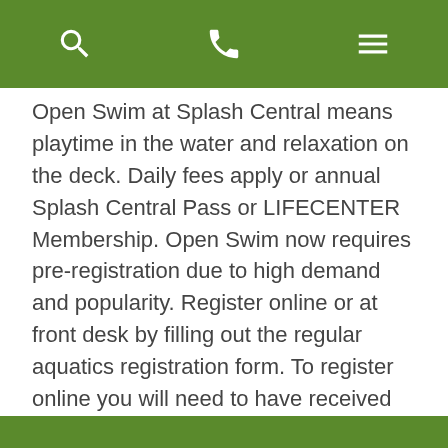[navigation bar with search, phone, and menu icons]
Open Swim at Splash Central means playtime in the water and relaxation on the deck. Daily fees apply or annual Splash Central Pass or LIFECENTER Membership. Open Swim now requires pre-registration due to high demand and popularity. Register online or at front desk by filling out the regular aquatics registration form. To register online you will need to have received your username and password. Please make sure you apply for an online account ASAP. You will receive an email from...
Find out more »
« Previous Events